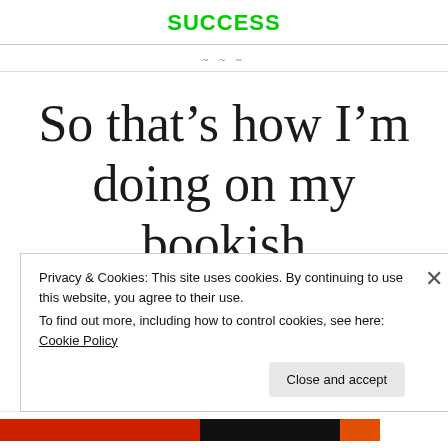SUCCESS
~ ~ ~
So that’s how I’m doing on my bookish resolutions so far this year!
Privacy & Cookies: This site uses cookies. By continuing to use this website, you agree to their use.
To find out more, including how to control cookies, see here: Cookie Policy